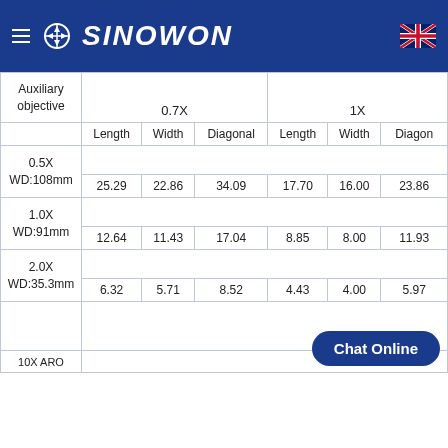SINOWON
| Auxiliary objective |  | 0.7X |  |  | 1X |  |  |
| --- | --- | --- | --- | --- | --- | --- | --- |
|  | Length | Width | Diagonal | Length | Width | Diagonal |
| 0.5X
WD:108mm | 25.29 | 22.86 | 34.09 | 17.70 | 16.00 | 23.86 |
| 1.0X
WD:91mm | 12.64 | 11.43 | 17.04 | 8.85 | 8.00 | 11.93 |
| 2.0X
WD:35.3mm | 6.32 | 5.71 | 8.52 | 4.43 | 4.00 | 5.97 |
| 10X ARO |  |  |  |  |  |  |